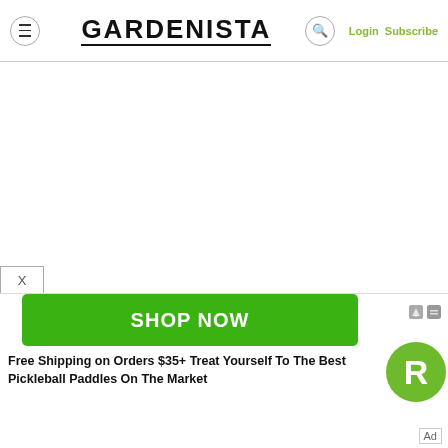GARDENISTA
[Figure (screenshot): White blank content area below the Gardenista header navigation]
[Figure (infographic): Advertisement banner: green SHOP NOW button, R circle logo, text reading 'Free Shipping on Orders $35+ Treat Yourself To The Best Pickleball Paddles On The Market', Ad label, AdChoices icons, X close button]